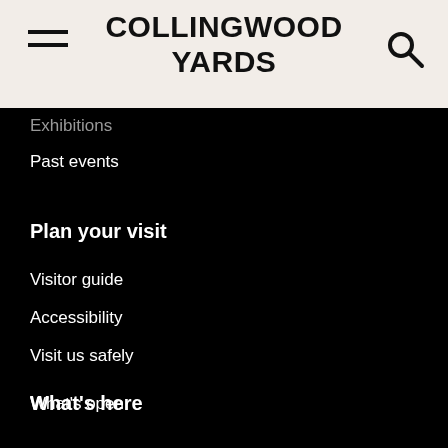COLLINGWOOD YARDS
Exhibitions
Past events
Plan your visit
Visitor guide
Accessibility
Visit us safely
What's here
Directory
What's open
Available spaces